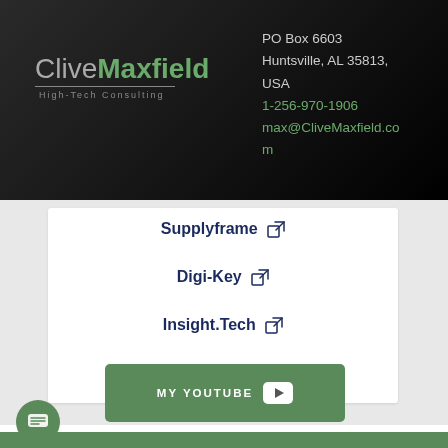[Figure (logo): CliveMaxfield High-Tech Consulting logo on dark background]
PO Box 6603
Huntsville, AL 35813, USA
1-256-970-1906
max@CliveMaxfield.com
Supplyframe [external link]
Digi-Key [external link]
Insight.Tech [external link]
[Figure (other): MY YOUTUBE button with YouTube play icon]
4